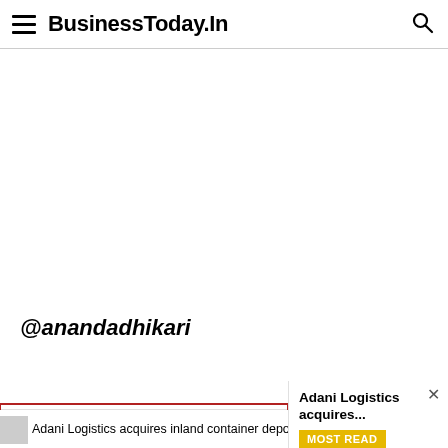BusinessToday.In
@anandadhikari
Adani Logistics acquires inland container depot Tumb for Rs 835 cr
Adani Logistics acquires... MOST READ